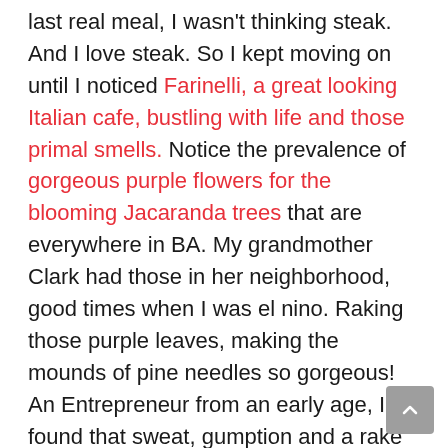last real meal, I wasn't thinking steak. And I love steak. So I kept moving on until I noticed Farinelli, a great looking Italian cafe, bustling with life and those primal smells. Notice the prevalence of gorgeous purple flowers for the blooming Jacaranda trees that are everywhere in BA. My grandmother Clark had those in her neighborhood, good times when I was el nino. Raking those purple leaves, making the mounds of pine needles so gorgeous! An Entrepreneur from an early age, I found that sweat, gumption and a rake could earn the $$ that gave a kid so many options.